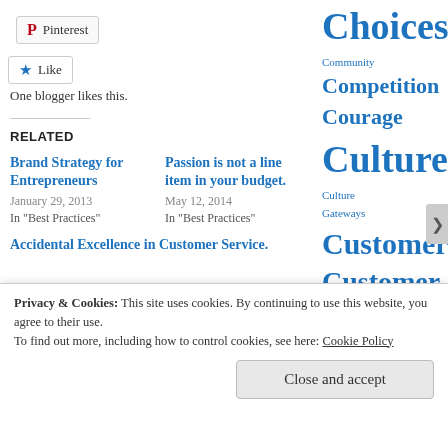[Figure (other): Pinterest share button with Pinterest logo icon]
[Figure (other): Like button with star icon]
One blogger likes this.
RELATED
Brand Strategy for Entrepreneurs
January 29, 2013
In "Best Practices"
Passion is not a line item in your budget.
May 12, 2014
In "Best Practices"
Accidental Excellence in Customer Service.
Choices Community Competition Courage Culture Culture Gateways Customers Customer Service discussion Diversity Employees Entrepreneur Evolution Exceeding Expectations Focus Human Resources Identity Imperfect Leadership Kodak Leadership Logo Mission
Privacy & Cookies: This site uses cookies. By continuing to use this website, you agree to their use.
To find out more, including how to control cookies, see here: Cookie Policy
Close and accept